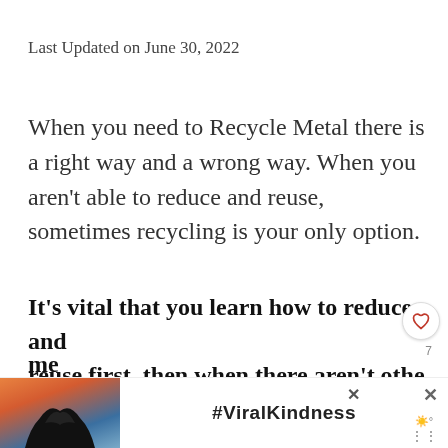Last Updated on June 30, 2022
When you need to Recycle Metal there is a right way and a wrong way. When you aren't able to reduce and reuse, sometimes recycling is your only option.
It's vital that you learn how to reduce and reuse first, then when there aren't other options, recycle metals properly. We will discuss the correct metal disposal methods...
[Figure (infographic): Ad banner with #ViralKindness hashtag and hands forming heart shape against sunset sky background, with close buttons and weather icon overlay]